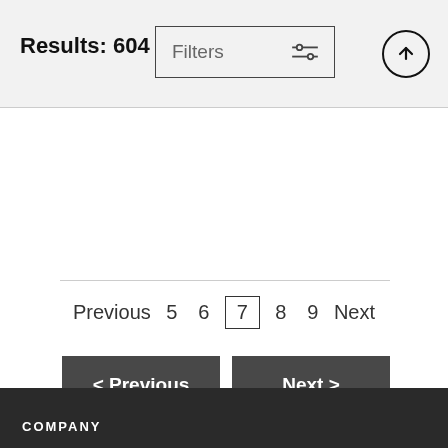Results: 604
Filters
Previous  5  6  7  8  9  Next
< Previous
Next >
Wall Art
COMPANY